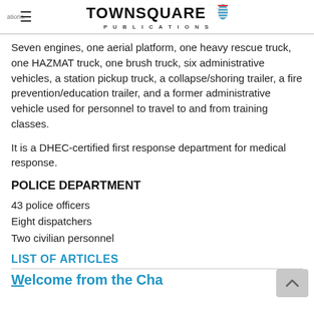TOWNSQUARE PUBLICATIONS
Seven engines, one aerial platform, one heavy rescue truck, one HAZMAT truck, one brush truck, six administrative vehicles, a station pickup truck, a collapse/shoring trailer, a fire prevention/education trailer, and a former administrative vehicle used for personnel to travel to and from training classes.
It is a DHEC-certified first response department for medical response.
POLICE DEPARTMENT
43 police officers
Eight dispatchers
Two civilian personnel
LIST OF ARTICLES
Welcome from the Chamber...